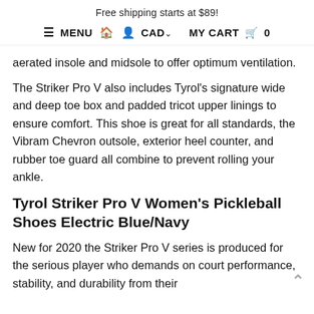Free shipping starts at $89!
≡ MENU 🏠 👤 CAD∨  MY CART 🛒 0
aerated insole and midsole to offer optimum ventilation.
The Striker Pro V also includes Tyrol's signature wide and deep toe box and padded tricot upper linings to ensure comfort. This shoe is great for all standards, the Vibram Chevron outsole, exterior heel counter, and rubber toe guard all combine to prevent rolling your ankle.
Tyrol Striker Pro V Women's Pickleball Shoes Electric Blue/Navy
New for 2020 the Striker Pro V series is produced for the serious player who demands on court performance, stability, and durability from their